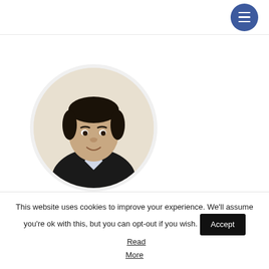[Figure (photo): Circular profile photo of a man (Anand Hariharan) wearing a dark suit jacket, smiling, against a light background]
Anand Hariharan
Co-Founder, CTO,
This website uses cookies to improve your experience. We'll assume you're ok with this, but you can opt-out if you wish. Accept Read More